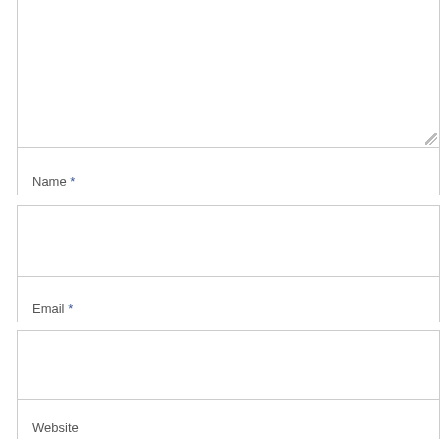[Figure (screenshot): Comment form with textarea (partially visible at top), Name field with required asterisk, Email field with required asterisk, Website field, and a partially visible checkbox row with text 'Save my name, email, and website in this browser for the']
Name *
Email *
Website
Save my name, email, and website in this browser for the